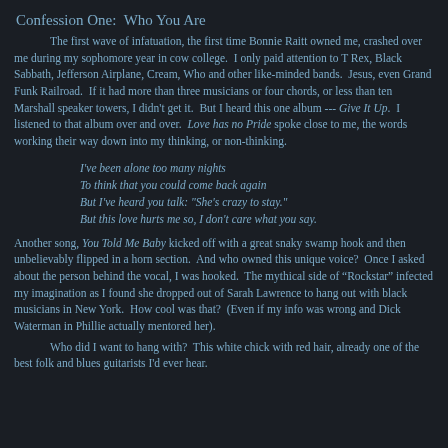Confession One:  Who You Are
The first wave of infatuation, the first time Bonnie Raitt owned me, crashed over me during my sophomore year in cow college.  I only paid attention to T Rex, Black Sabbath, Jefferson Airplane, Cream, Who and other like-minded bands.  Jesus, even Grand Funk Railroad.  If it had more than three musicians or four chords, or less than ten Marshall speaker towers, I didn't get it.  But I heard this one album --- Give It Up.  I listened to that album over and over.  Love has no Pride spoke close to me, the words working their way down into my thinking, or non-thinking.
I've been alone too many nights
To think that you could come back again
But I've heard you talk: "She's crazy to stay."
But this love hurts me so, I don't care what you say.
Another song, You Told Me Baby kicked off with a great snaky swamp hook and then unbelievably flipped in a horn section.  And who owned this unique voice?  Once I asked about the person behind the vocal, I was hooked.  The mythical side of “Rockstar” infected my imagination as I found she dropped out of Sarah Lawrence to hang out with black musicians in New York.  How cool was that?  (Even if my info was wrong and Dick Waterman in Phillie actually mentored her).
        Who did I want to hang with?  This white chick with red hair, already one of the best folk and blues guitarists I'd ever hear.